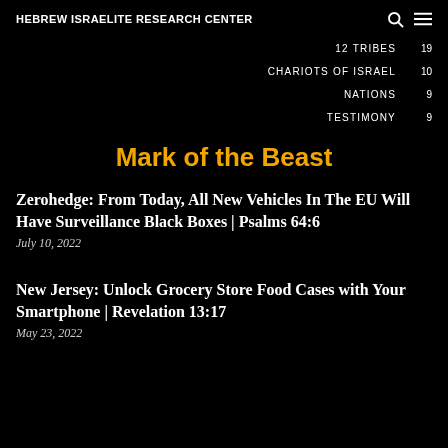HEBREW ISRAELITE RESEARCH CENTER
12 TRIBES 19
CHARIOTS OF ISRAEL 10
NATIONS 9
TESTIMONY 9
Mark of the Beast
Zerohedge: From Today, All New Vehicles In The EU Will Have Surveillance Black Boxes | Psalms 64:6
July 10, 2022
New Jersey: Unlock Grocery Store Food Cases with Your Smartphone | Revelation 13:17
May 23, 2022